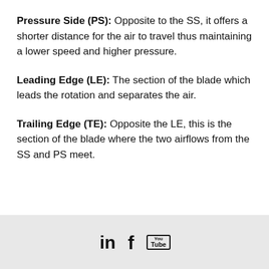Pressure Side (PS): Opposite to the SS, it offers a shorter distance for the air to travel thus maintaining a lower speed and higher pressure.
Leading Edge (LE): The section of the blade which leads the rotation and separates the air.
Trailing Edge (TE): Opposite the LE, this is the section of the blade where the two airflows from the SS and PS meet.
[Figure (other): Social media icons: LinkedIn (in), Facebook (f), YouTube (You/Tube box) displayed in a grey footer bar]